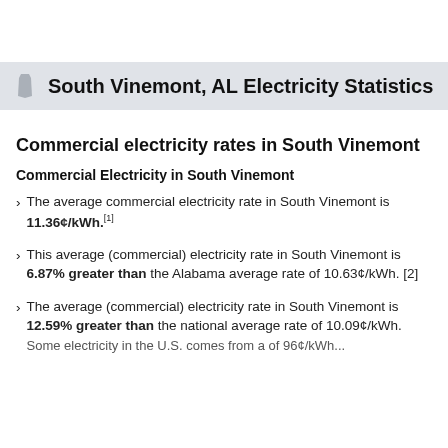South Vinemont, AL Electricity Statistics
Commercial electricity rates in South Vinemont
Commercial Electricity in South Vinemont
The average commercial electricity rate in South Vinemont is 11.36¢/kWh.[1]
This average (commercial) electricity rate in South Vinemont is 6.87% greater than the Alabama average rate of 10.63¢/kWh. [2]
The average (commercial) electricity rate in South Vinemont is 12.59% greater than the national average rate of 10.09¢/kWh.